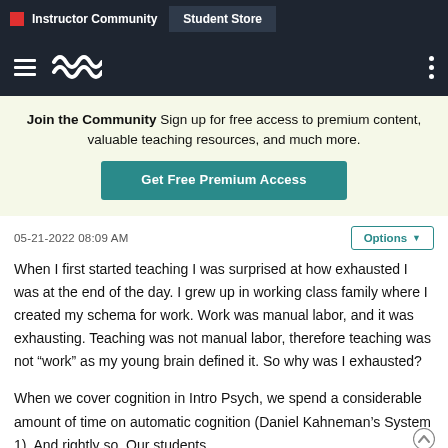Instructor Community | Student Store
Join the Community  Sign up for free access to premium content, valuable teaching resources, and much more.
Get Free Premium Access
05-21-2022 08:09 AM
Options
When I first started teaching I was surprised at how exhausted I was at the end of the day. I grew up in working class family where I created my schema for work. Work was manual labor, and it was exhausting. Teaching was not manual labor, therefore teaching was not “work” as my young brain defined it. So why was I exhausted?
When we cover cognition in Intro Psych, we spend a considerable amount of time on automatic cognition (Daniel Kahneman’s System 1). And rightly so. Our students